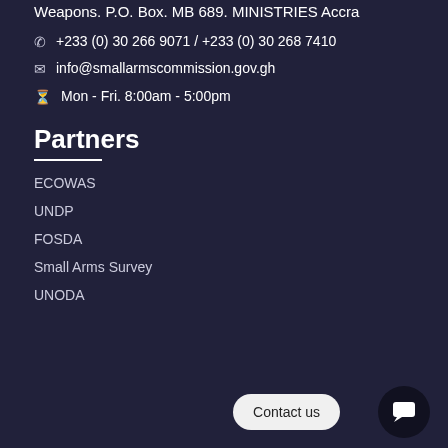The National Commission on Small Arms & Light Weapons. P.O. Box. MB 689. MINISTRIES Accra
+233 (0) 30 266 9071 / +233 (0) 30 268 7410
info@smallarmscommission.gov.gh
Mon - Fri. 8:00am - 5:00pm
Partners
ECOWAS
UNDP
FOSDA
Small Arms Survey
UNODA
Contact us